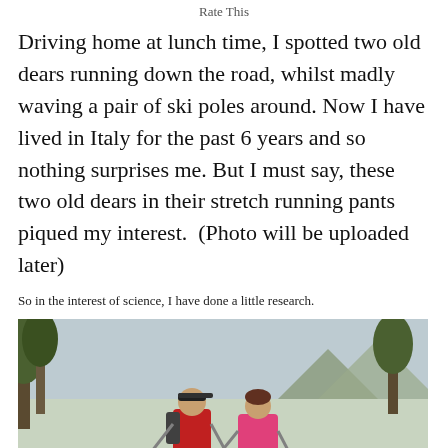Rate This
Driving home at lunch time, I spotted two old dears running down the road, whilst madly waving a pair of ski poles around. Now I have lived in Italy for the past 6 years and so nothing surprises me. But I must say, these two old dears in their stretch running pants piqued my interest.  (Photo will be uploaded later)
So in the interest of science, I have done a little research.
[Figure (photo): Two people in red and pink athletic jackets Nordic walking with poles on a hillside trail with pine trees and mountains in the background.]